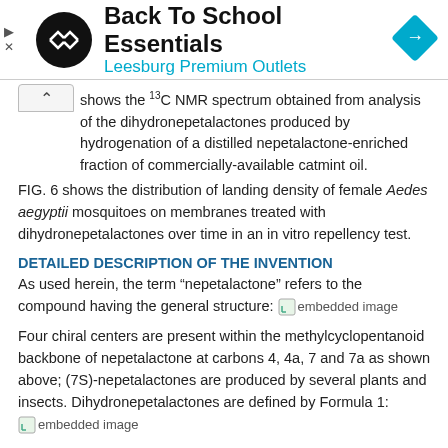[Figure (other): Advertisement banner: Back To School Essentials - Leesburg Premium Outlets with logo and navigation icon]
shows the 13C NMR spectrum obtained from analysis of the dihydronepetalactones produced by hydrogenation of a distilled nepetalactone-enriched fraction of commercially-available catmint oil.
FIG. 6 shows the distribution of landing density of female Aedes aegyptii mosquitoes on membranes treated with dihydronepetalactones over time in an in vitro repellency test.
DETAILED DESCRIPTION OF THE INVENTION
As used herein, the term “nepetalactone” refers to the compound having the general structure: [embedded image]
Four chiral centers are present within the methylcyclopentanoid backbone of nepetalactone at carbons 4, 4a, 7 and 7a as shown above; (7S)-nepetalactones are produced by several plants and insects. Dihydronepetalactones are defined by Formula 1: [embedded image]
Formula 1
wherein 1, 5, 6 and 9 indicate the four chiral centers of the molecule and